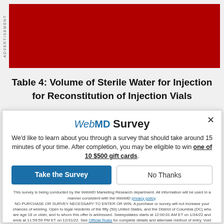[Figure (other): Red advertisement banner with 'ADVERTISEMENT' label on the left side]
Table 4: Volume of Sterile Water for Injection for Reconstitution of Injection Vials
[Figure (screenshot): WebMD Survey modal popup overlay. Heading: WebMD Survey. Body: We'd like to learn about you through a survey that should take around 15 minutes of your time. After completion, you may be eligible to win one of 10 $500 gift cards. Buttons: 'Take the Survey' and 'No Thanks'. Footer legal disclaimer text about WebMD Marketing Research department, privacy policy, sweepstakes rules.]